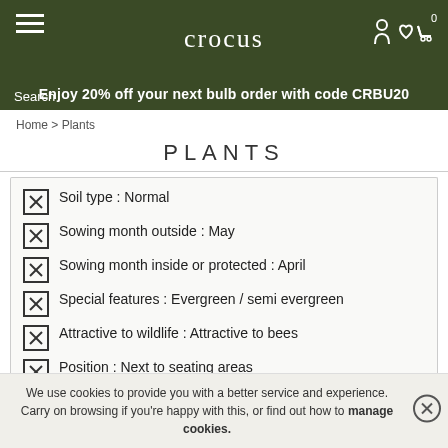crocus
Enjoy 20% off your next bulb order with code CRBU20
Home > Plants
PLANTS
Soil type : Normal
Sowing month outside : May
Sowing month inside or protected : April
Special features : Evergreen / semi evergreen
Attractive to wildlife : Attractive to bees
Position : Next to seating areas
Kitchen garden planting guidelines : Suitable
We use cookies to provide you with a better service and experience. Carry on browsing if you're happy with this, or find out how to manage cookies.